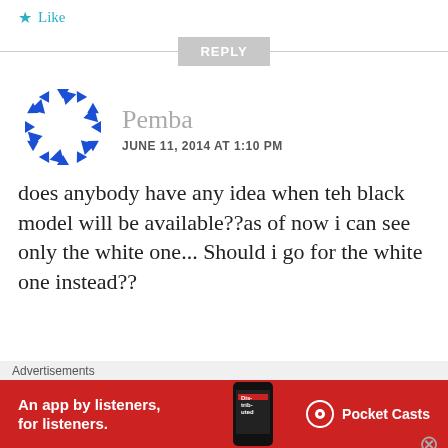★ Like
REPLY
[Figure (logo): Circular arrow logo avatar for user Pemba]
Pemba
JUNE 11, 2014 AT 1:10 PM
does anybody have any idea when teh black model will be available??as of now i can see only the white one... Should i go for the white one instead??
Advertisements
[Figure (infographic): Pocket Casts advertisement banner: red background with text 'An app by listeners, for listeners.' and Pocket Casts logo on right, phone image in center-right]